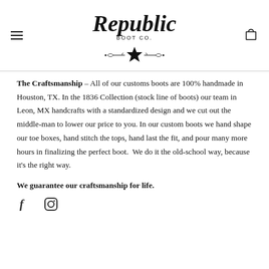Republic Boot Co.
The Craftsmanship – All of our customs boots are 100% handmade in Houston, TX. In the 1836 Collection (stock line of boots) our team in Leon, MX handcrafts with a standardized design and we cut out the middle-man to lower our price to you. In our custom boots we hand shape our toe boxes, hand stitch the tops, hand last the fit, and pour many more hours in finalizing the perfect boot. We do it the old-school way, because it's the right way.
We guarantee our craftsmanship for life.
[Figure (logo): Facebook and Instagram social media icons]